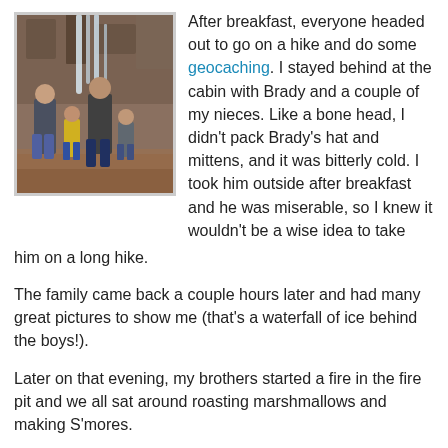[Figure (photo): Family photo of adults and children standing in front of a frozen waterfall on a rocky cliff. Three or four people visible, wearing winter jackets.]
After breakfast, everyone headed out to go on a hike and do some geocaching. I stayed behind at the cabin with Brady and a couple of my nieces. Like a bone head, I didn't pack Brady's hat and mittens, and it was bitterly cold. I took him outside after breakfast and he was miserable, so I knew it wouldn't be a wise idea to take him on a long hike.
The family came back a couple hours later and had many great pictures to show me (that's a waterfall of ice behind the boys!).
Later on that evening, my brothers started a fire in the fire pit and we all sat around roasting marshmallows and making S'mores.
Everybody had so much fun spending time together, that we've decided to plan a fishing trip next!